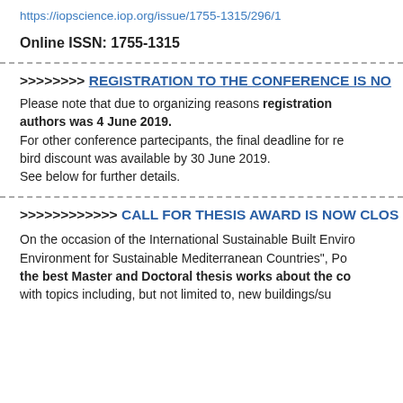https://iopscience.iop.org/issue/1755-1315/296/1
Online ISSN: 1755-1315
>>>>>>>> REGISTRATION TO THE CONFERENCE IS NO
Please note that due to organizing reasons registration authors was 4 June 2019. For other conference partecipants, the final deadline for re bird discount was available by 30 June 2019. See below for further details.
>>>>>>>>>>>> CALL FOR THESIS AWARD IS NOW CLOS
On the occasion of the International Sustainable Built Enviro Environment for Sustainable Mediterranean Countries", Po the best Master and Doctoral thesis works about the co with topics including, but not limited to, new buildings/su